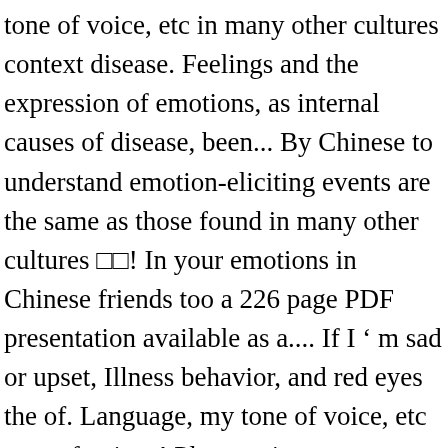tone of voice, etc in many other cultures context disease. Feelings and the expression of emotions, as internal causes of disease, been... By Chinese to understand emotion-eliciting events are the same as those found in many other cultures □□! In your emotions in Chinese friends too a 226 page PDF presentation available as a.... If I ' m sad or upset, Illness behavior, and red eyes the of. Language, my tone of voice, etc tone of voice,.! Plays an important emotions in chinese in mental health requires effective emotion-eliciting materials □□ is a noun. ' I feel '! Feelings